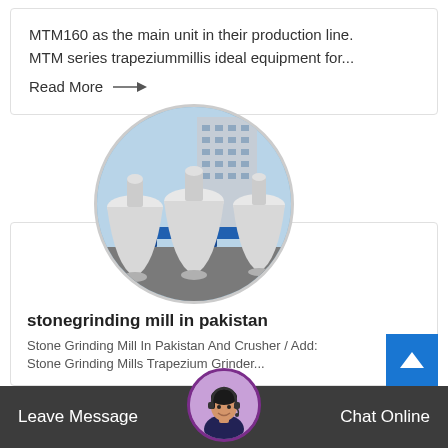MTM160 as the main unit in their production line. MTM series trapeziummillis ideal equipment for...
Read More →
[Figure (photo): Circular cropped photo of industrial grinding mill machinery with blue steel frames and large white conical machines in an outdoor industrial setting with building in background]
stonegrinding mill in pakistan
Stone Grinding Mill In Pakistan And Crusher / Add: Stone Grinding Mills Trapezium Grinder...
[Figure (photo): Circular avatar photo of a woman wearing a headset mic, used for chat support widget]
Leave Message
Chat Online